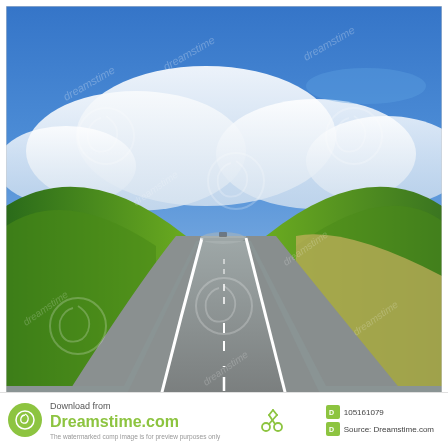[Figure (photo): A two-lane asphalt highway stretching into the distance with perspective convergence, flanked by green grassy hills on both sides. The sky above is vivid blue with large white clouds. Multiple Dreamstime watermarks are overlaid on the image in a diagonal pattern.]
Download from
Dreamstime.com
The watermarked comp image is for preview purposes only
105161079
Source: Dreamstime.com